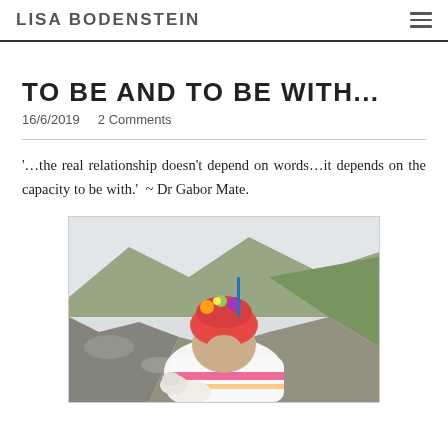LISA BODENSTEIN
TO BE AND TO BE WITH...
16/6/2019   2 Comments
'...the real relationship doesn't depend on words...it depends on the capacity to be with.'  ~ Dr Gabor Mate.
[Figure (photo): A person wearing a colorful knit hat with flowers/decorations, leaning down in a rocky mountainous landscape with green hills in the background and overcast sky.]